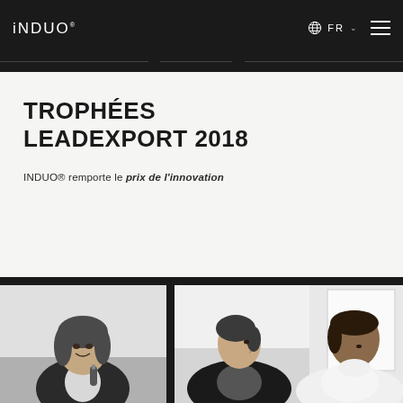iNDUO FR
TROPHÉES LEADEXPORT 2018
INDUO® remporte le prix de l'innovation
[Figure (photo): Black and white photo of a smiling young woman in a blazer holding a microphone]
[Figure (photo): Black and white photo of two people, a woman in profile and a man looking down, in a meeting setting]